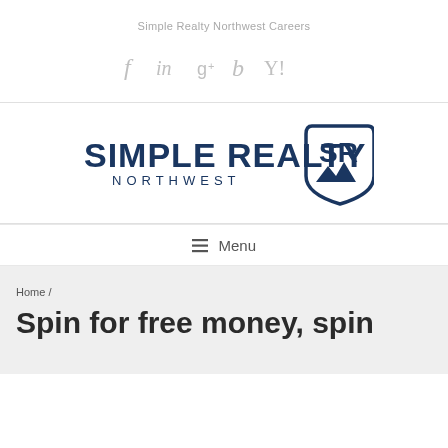Simple Realty Northwest Careers
[Figure (logo): Social media icons: f (Facebook), in (LinkedIn), g+ (Google+), b (Bloglovin), Y! (Yahoo)]
[Figure (logo): Simple Realty Northwest logo with shield icon containing SR letters and mountain imagery]
≡ Menu
Home /
Spin for free money, spin